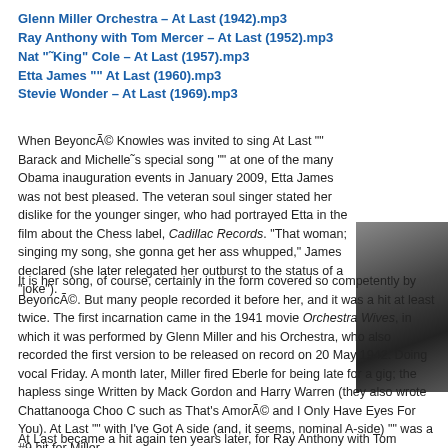Glenn Miller Orchestra – At Last (1942).mp3
Ray Anthony with Tom Mercer – At Last (1952).mp3
Nat "˜King" Cole – At Last (1957).mp3
Etta James "" At Last (1960).mp3
Stevie Wonder – At Last (1969).mp3
When Beyoncé Knowles was invited to sing At Last "" Barack and Michelle˜s special song "" at one of the many Obama inauguration events in January 2009, Etta James was not best pleased. The veteran soul singer stated her dislike for the younger singer, who had portrayed Etta in the film about the Chess label, Cadillac Records. “That woman; singing my song, she gonna get her ass whupped,” James declared (she later relegated her outburst to the status of a “joke”).
[Figure (photo): Partial view of a person, likely a musician, photo cropped on the right side of the page]
It is her song, of course, certainly in the form covered so competently by Beyoncé. But many people recorded it before her, and it was a hit at least twice. The first incarnation came in the 1941 movie Orchestra Wives, in which it was performed by Glenn Miller and his Orchestra, who also recorded the first version to be released on record on 20 May 1942. Doing vocal Friday. A month later, Miller fired Eberle for being late for a gig; the hapless singe Written by Mack Gordon and Harry Warren (they also wrote Chattanooga Choo C such as That’s Amoré and I Only Have Eyes For You). At Last "" with I've Got A side (and, it seems, nominal A-side) "" was a #9 hit for Miller.
At Last became a hit again ten years later, for Ray Anthony with Tom Mercer on v